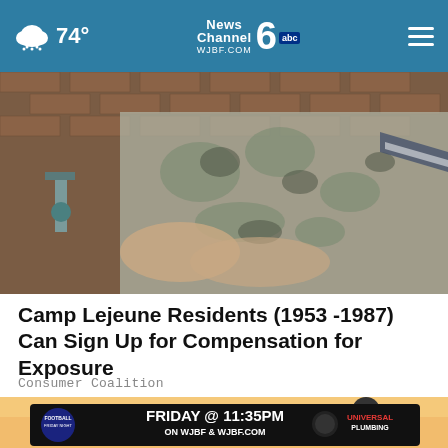74° News Channel 6 abc wjbf.com
[Figure (photo): A person in military camouflage uniform working on plumbing fixtures attached to a brick wall]
Camp Lejeune Residents (1953 -1987) Can Sign Up for Compensation for Exposure
Consumer Coalition
[Figure (screenshot): Advertisement banner: Football Friday Night - Friday @ 11:35PM on WJBF & WJBF.COM - Universal Plumbing]